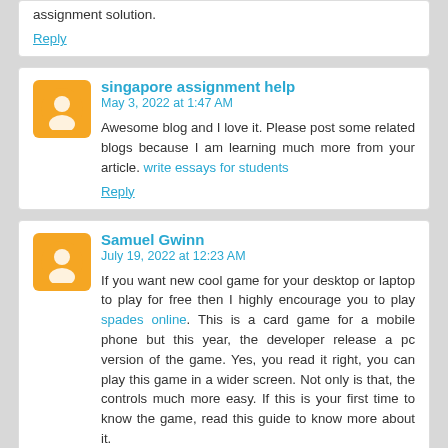assignment solution.
Reply
singapore assignment help
May 3, 2022 at 1:47 AM
Awesome blog and I love it. Please post some related blogs because I am learning much more from your article. write essays for students
Reply
Samuel Gwinn
July 19, 2022 at 12:23 AM
If you want new cool game for your desktop or laptop to play for free then I highly encourage you to play spades online. This is a card game for a mobile phone but this year, the developer release a pc version of the game. Yes, you read it right, you can play this game in a wider screen. Not only is that, the controls much more easy. If this is your first time to know the game, read this guide to know more about it.
Reply